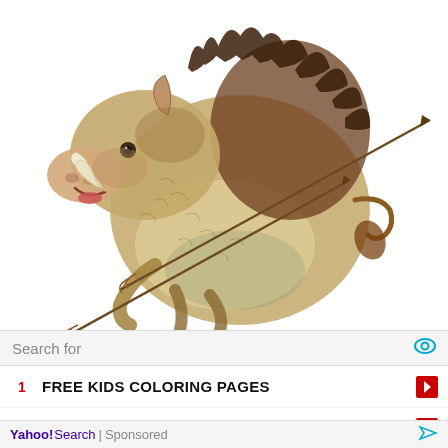[Figure (illustration): A detailed colored illustration of a wild boar rearing up on its hind legs with two arrows piercing its body. The boar has large tusks, a mane of dark spiky fur along its back, and a curled tail. The style is a classical or medieval-style watercolor/ink drawing on white background.]
Search for
1  FREE KIDS COLORING PAGES
2  IMAGES FOR PURCHASE
Yahoo! Search | Sponsored